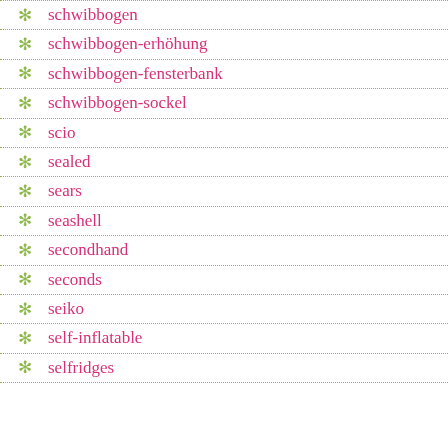schwibbogen
schwibbogen-erhöhung
schwibbogen-fensterbank
schwibbogen-sockel
scio
sealed
sears
seashell
secondhand
seconds
seiko
self-inflatable
selfridges